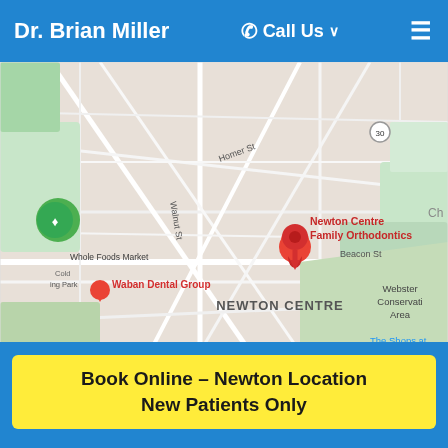Dr. Brian Miller  |  Call Us  |  ☰
[Figure (map): Google Maps screenshot showing Newton Centre area with pins for Newton Centre Family Orthodontics, Waban Dental Group, and Newton Centre Dental | Newton, MA. Also shows Whole Foods Market, Webster Conservation Area, The Shops at, Homer St, Walnut St, Beacon St streets, and a blue pond/lake area.]
Book Online – Newton Location
New Patients Only
23 Pleasant Street
Newton Centre, MA 02459
(617) 964-0073